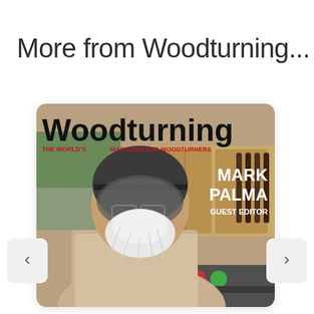More from Woodturning...
[Figure (photo): Cover of Woodturning magazine showing a man wearing a protective helmet/visor with a white beard, in a workshop setting. The magazine cover reads 'Woodturning' in large bold black text, 'THE WORLD'S MAGAZINE FOR WOODTURNERS' in red text, and 'MARK PALMA GUEST EDITOR' in white bold text on the right side.]
[Figure (other): Left navigation arrow button (chevron <)]
[Figure (other): Right navigation arrow button (chevron >)]